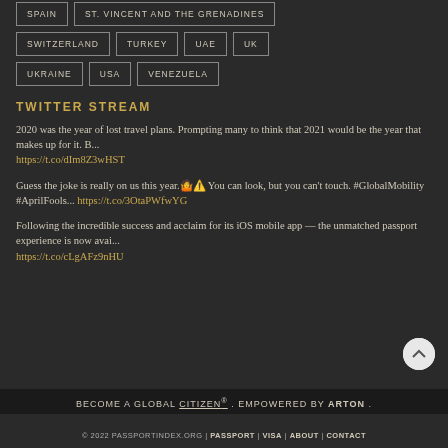SPAIN
ST. VINCENT AND THE GRENADINES
SWITZERLAND
TURKEY
UAE
UK
UKRAINE
USA
VENEZUELA
TWITTER STREAM
2020 was the year of lost travel plans. Prompting many to think that 2021 would be the year that makes up for it. B... https://t.co/dIm8Z3wHST
Guess the joke is really on us this year.🤷⚠️ You can look, but you can't touch. #GlobalMobility #AprilFools... https://t.co/3OtaPWfwYG
Following the incredible success and acclaim for its iOS mobile app — the unmatched passport experience is now avai... https://t.co/cLgAFz9nHU
BECOME A GLOBAL CITIZEN®. EMPOWERED BY ARTON.
© 2022 PASSPORTINDEX.ORG | PASSPORT | VISA | ABOUT | CONTACT